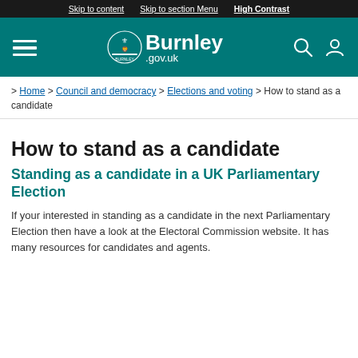Skip to content | Skip to section Menu | High Contrast
[Figure (logo): Burnley.gov.uk website header with coat of arms logo, hamburger menu icon, search icon, and user account icon on teal background]
> Home > Council and democracy > Elections and voting > How to stand as a candidate
How to stand as a candidate
Standing as a candidate in a UK Parliamentary Election
If your interested in standing as a candidate in the next Parliamentary Election then have a look at the Electoral Commission website. It has many resources for candidates and agents.